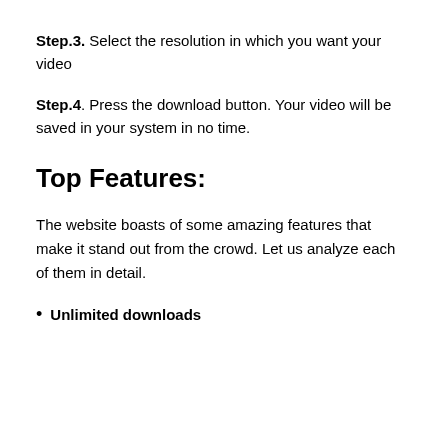Step.3. Select the resolution in which you want your video
Step.4. Press the download button. Your video will be saved in your system in no time.
Top Features:
The website boasts of some amazing features that make it stand out from the crowd. Let us analyze each of them in detail.
Unlimited downloads